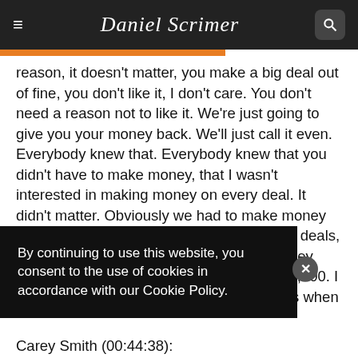Daniel Scrimer
reason, it doesn't matter, you make a big deal out of fine, you don't like it, I don't care. You don't need a reason not to like it. We're just going to give you your money back. We'll just call it even. Everybody knew that. Everybody knew that you didn't have to make money, that I wasn't interested in making money on every deal. It didn't matter. Obviously we had to make money on cumulatively or the summation of all the deals, but on the individual, I didn't care if, well, they paid me $5,000 and it was going to cost $6,000. I don't care. It was fine. That's what happens when you make a mistake. But when you make a mistake, after realizing, you have to accept it, you
By continuing to use this website, you consent to the use of cookies in accordance with our Cookie Policy.
Carey Smith (00:44:38):